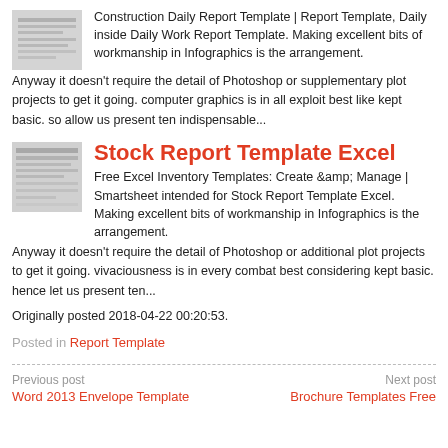[Figure (screenshot): Thumbnail image of a construction daily report template document]
Construction Daily Report Template | Report Template, Daily inside Daily Work Report Template. Making excellent bits of workmanship in Infographics is the arrangement.
Anyway it doesn't require the detail of Photoshop or supplementary plot projects to get it going. computer graphics is in all exploit best like kept basic. so allow us present ten indispensable...
[Figure (screenshot): Thumbnail image of a stock report template Excel spreadsheet]
Stock Report Template Excel
Free Excel Inventory Templates: Create &amp; Manage | Smartsheet intended for Stock Report Template Excel. Making excellent bits of workmanship in Infographics is the arrangement. Anyway it doesn't require the detail of Photoshop or additional plot projects to get it going. vivaciousness is in every combat best considering kept basic. hence let us present ten...
Originally posted 2018-04-22 00:20:53.
Posted in Report Template
Previous post
Word 2013 Envelope Template
Next post
Brochure Templates Free